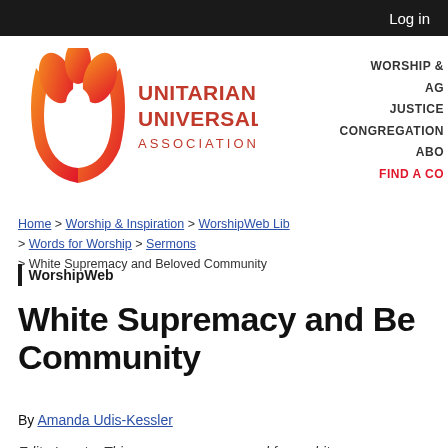Log in
[Figure (logo): Unitarian Universalist Association logo with flame icon and text]
WORSHIP & 
AG
JUSTICE
CONGREGATION
ABO
FIND A CO
Home > Worship & Inspiration > WorshipWeb Lib > Words for Worship > Sermons > White Supremacy and Beloved Community
WorshipWeb
White Supremacy and Beloved Community
By Amanda Udis-Kessler
Editor's note: This sermon was prepared for a white